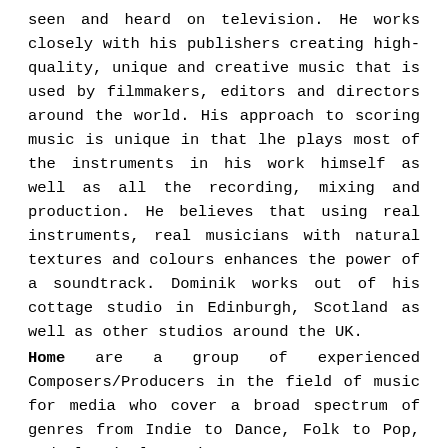seen and heard on television. He works closely with his publishers creating high-quality, unique and creative music that is used by filmmakers, editors and directors around the world. His approach to scoring music is unique in that lhe plays most of the instruments in his work himself as well as all the recording, mixing and production. He believes that using real instruments, real musicians with natural textures and colours enhances the power of a soundtrack. Dominik works out of his cottage studio in Edinburgh, Scotland as well as other studios around the UK.
Home are a group of experienced Composers/Producers in the field of music for media who cover a broad spectrum of genres from Indie to Dance, Folk to Pop, and Classical to Hip Hop.
Production credits include: